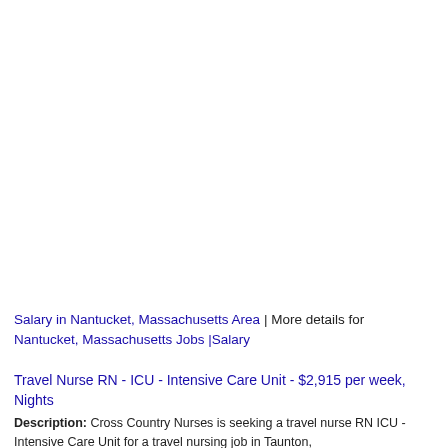Salary in Nantucket, Massachusetts Area | More details for Nantucket, Massachusetts Jobs |Salary
Travel Nurse RN - ICU - Intensive Care Unit - $2,915 per week, Nights
Description: Cross Country Nurses is seeking a travel nurse RN ICU - Intensive Care Unit for a travel nursing job in Taunton,